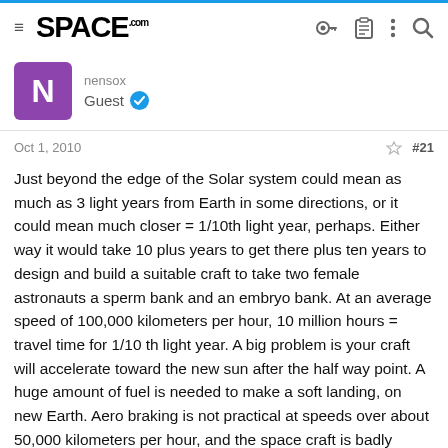SPACE.com
nensox
Guest
Oct 1, 2010  #21
Just beyond the edge of the Solar system could mean as much as 3 light years from Earth in some directions, or it could mean much closer = 1/10th light year, perhaps. Either way it would take 10 plus years to get there plus ten years to design and build a suitable craft to take two female astronauts a sperm bank and an embryo bank. At an average speed of 100,000 kilometers per hour, 10 million hours = travel time for 1/10 th light year. A big problem is your craft will accelerate toward the new sun after the half way point. A huge amount of fuel is needed to make a soft landing, on new Earth. Aero braking is not practical at speeds over about 50,000 kilometers per hour, and the space craft is badly deteriorated after almost 10 million hours, so most of the systems will not be repairable. Those